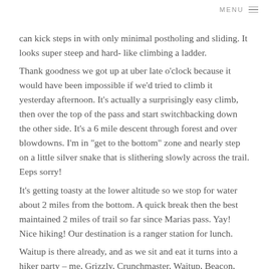MENU
can kick steps in with only minimal postholing and sliding. It looks super steep and hard- like climbing a ladder.
Thank goodness we got up at uber late o'clock because it would have been impossible if we'd tried to climb it yesterday afternoon. It's actually a surprisingly easy climb, then over the top of the pass and start switchbacking down the other side. It's a 6 mile descent through forest and over blowdowns. I'm in "get to the bottom" zone and nearly step on a little silver snake that is slithering slowly across the trail. Eeps sorry!
It's getting toasty at the lower altitude so we stop for water about 2 miles from the bottom. A quick break then the best maintained 2 miles of trail so far since Marias pass. Yay! Nice hiking! Our destination is a ranger station for lunch.
Waitup is there already, and as we sit and eat it turns into a hiker party – me, Grizzly, Crunchmaster, Waitup, Beacon, Mermaid, Steven and Lucky Strike.